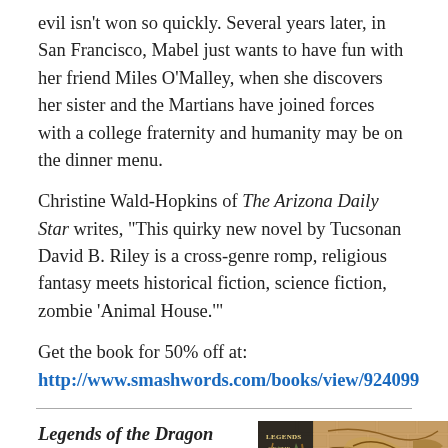evil isn't won so quickly. Several years later, in San Francisco, Mabel just wants to have fun with her friend Miles O'Malley, when she discovers her sister and the Martians have joined forces with a college fraternity and humanity may be on the dinner menu.
Christine Wald-Hopkins of The Arizona Daily Star writes, "This quirky new novel by Tucsonan David B. Riley is a cross-genre romp, religious fantasy meets historical fiction, science fiction, zombie 'Animal House.'"
Get the book for 50% off at:
http://www.smashwords.com/books/view/924099
Legends of the Dragon Cowboys brings you two weird western adventures
[Figure (illustration): Book cover for 'Legends of the Dragon Cowboys' showing text and illustrated artwork with a dragon/cowboy motif on a brick-textured background]